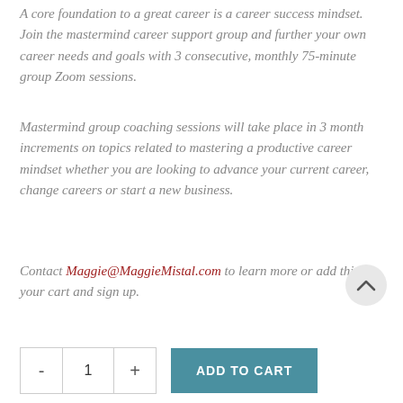A core foundation to a great career is a career success mindset. Join the mastermind career support group and further your own career needs and goals with 3 consecutive, monthly 75-minute group Zoom sessions.
Mastermind group coaching sessions will take place in 3 month increments on topics related to mastering a productive career mindset whether you are looking to advance your current career, change careers or start a new business.
Contact Maggie@MaggieMistal.com to learn more or add this to your cart and sign up.